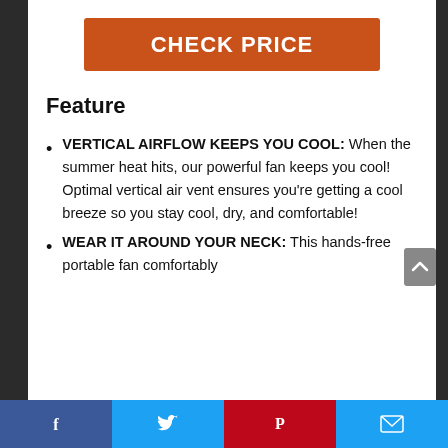CHECK PRICE
Feature
VERTICAL AIRFLOW KEEPS YOU COOL: When the summer heat hits, our powerful fan keeps you cool! Optimal vertical air vent ensures you’re getting a cool breeze so you stay cool, dry, and comfortable!
WEAR IT AROUND YOUR NECK: This hands-free portable fan comfortably
Facebook Twitter Pinterest Email